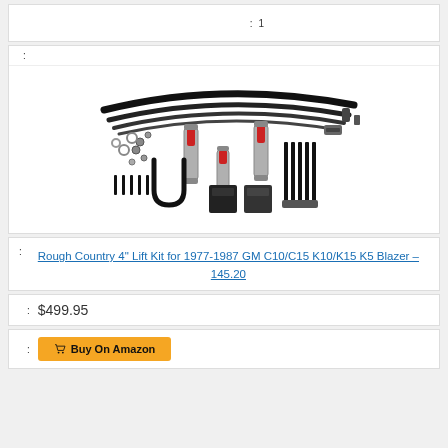: 1
[Figure (photo): Rough Country 4 inch lift kit components including leaf springs, shocks, U-bolts, and hardware on white background]
: Rough Country 4" Lift Kit for 1977-1987 GM C10/C15 K10/K15 K5 Blazer – 145.20
: $499.95
: Buy On Amazon